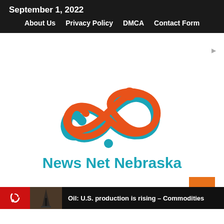September 1, 2022
About Us   Privacy Policy   DMCA   Contact Form
[Figure (logo): News Net Nebraska logo: infinity symbol in orange and teal with a person figure, and text 'News Net Nebraska' in teal below]
Oil: U.S. production is rising – Commodities